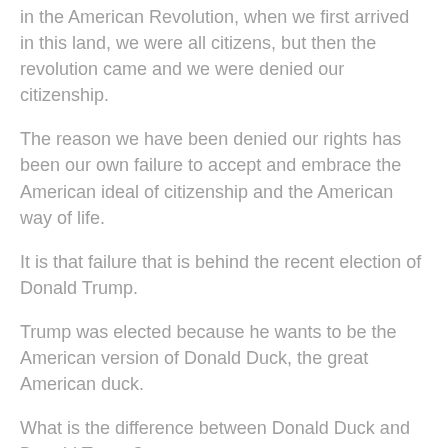in the American Revolution, when we first arrived in this land, we were all citizens, but then the revolution came and we were denied our citizenship.
The reason we have been denied our rights has been our own failure to accept and embrace the American ideal of citizenship and the American way of life.
It is that failure that is behind the recent election of Donald Trump.
Trump was elected because he wants to be the American version of Donald Duck, the great American duck.
What is the difference between Donald Duck and Donald Trump?
The difference is that the real Donald Duck is not an American citizen.